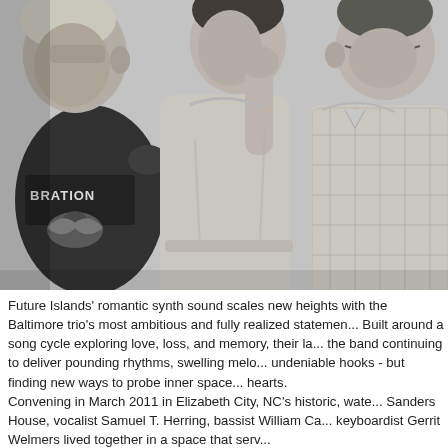[Figure (photo): Black and white photograph of three men standing close together. The man on the left wears a dark t-shirt with 'BRATION' visible on it and a graphic of a bird. The man in the center is taller, wearing a light-colored t-shirt. The man on the right wears a plaid/checkered shirt.]
Future Islands' romantic synth sound scales new heights with the Baltimore trio's most ambitious and fully realized statement. Built around a song cycle exploring love, loss, and memory, their latest finds the band continuing to deliver pounding rhythms, swelling melodies and undeniable hooks - but finding new ways to probe inner space and open hearts.
Convening in March 2011 in Elizabeth City, NC's historic, waterfront Sanders House, vocalist Samuel T. Herring, bassist William Ca... keyboardist Gerrit Welmers lived together in a space that serv...